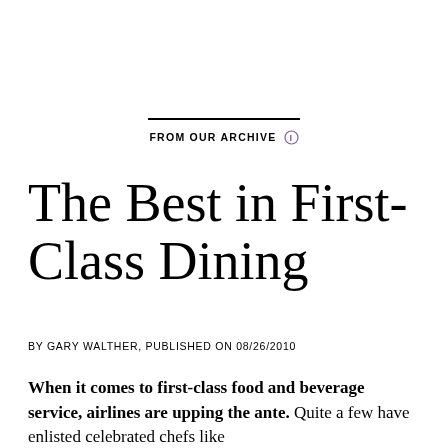FROM OUR ARCHIVE ℹ
The Best in First-Class Dining
BY GARY WALTHER, PUBLISHED ON 08/26/2010
When it comes to first-class food and beverage service, airlines are upping the ante. Quite a few have enlisted celebrated chefs like